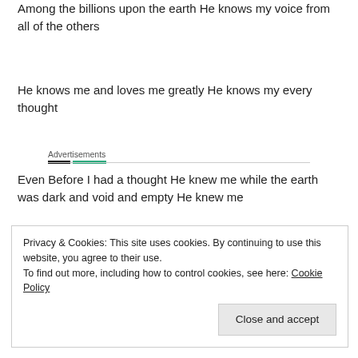Among the billions upon the earth He knows my voice from all of the others
He knows me and loves me greatly He knows my every thought
Advertisements
Even Before I had a thought He knew me while the earth was dark and void and empty He knew me
Privacy & Cookies: This site uses cookies. By continuing to use this website, you agree to their use.
To find out more, including how to control cookies, see here: Cookie Policy